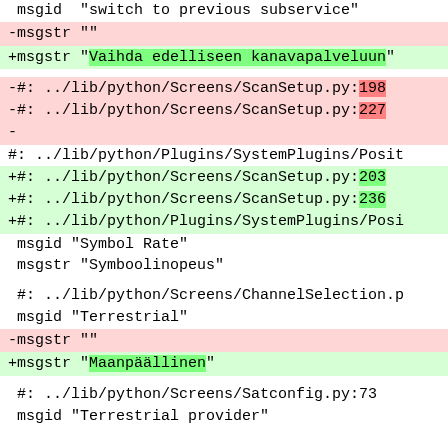msgid  "switch to previous subservice"
-msgstr ""
+msgstr "Vaihda edelliseen kanavapalveluun"
-#: ../lib/python/Screens/ScanSetup.py:198
-#: ../lib/python/Screens/ScanSetup.py:227
-
#: ../lib/python/Plugins/SystemPlugins/Posit
+#: ../lib/python/Screens/ScanSetup.py:203
+#: ../lib/python/Screens/ScanSetup.py:236
+#: ../lib/python/Plugins/SystemPlugins/Posi
msgid "Symbol Rate"
 msgstr "Symboolinopeus"
#: ../lib/python/Screens/ChannelSelection.p
 msgid "Terrestrial"
-msgstr ""
+msgstr "Maanpäällinen"
#: ../lib/python/Screens/Satconfig.py:73
 msgid "Terrestrial provider"